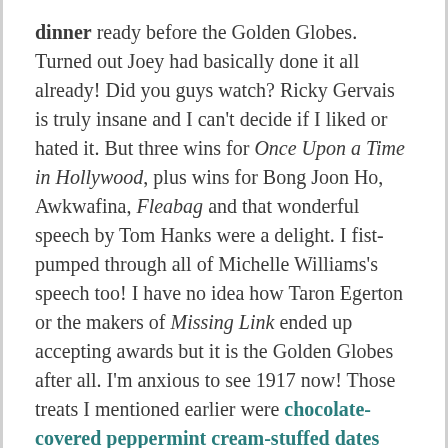dinner ready before the Golden Globes. Turned out Joey had basically done it all already!  Did you guys watch?  Ricky Gervais is truly insane and I can't decide if I liked or hated it.  But three wins for Once Upon a Time in Hollywood, plus wins for Bong Joon Ho, Awkwafina, Fleabag and that wonderful speech by Tom Hanks were a delight.  I fist-pumped through all of Michelle Williams's speech too!  I have no idea how Taron Egerton or the makers of Missing Link ended up accepting awards but it is the Golden Globes after all.  I'm anxious to see 1917 now!  Those treats I mentioned earlier were chocolate-covered peppermint cream-stuffed dates and they turned out really good!